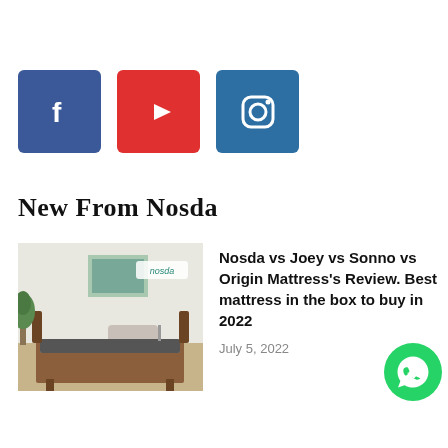[Figure (logo): Facebook icon (white f on blue background), YouTube icon (white play button on red background), Instagram icon (white camera outline on dark blue background) - social media icons row]
New From Nosda
[Figure (photo): Photo of a bedroom with a mattress on a wooden bed frame, nosda brand label in top right corner, plant visible on left side]
Nosda vs Joey vs Sonno vs Origin Mattress's Review. Best mattress in the box to buy in 2022
July 5, 2022